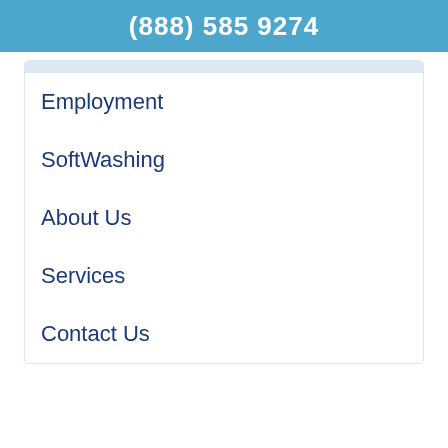(888) 585 9274
Employment
SoftWashing
About Us
Services
Contact Us
Get a FREE Quote
MAP